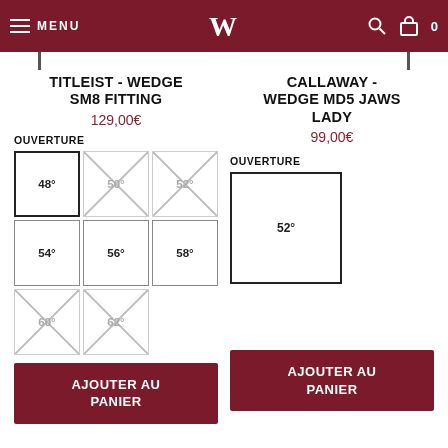MENU — W — 0
TITLEIST - WEDGE SM8 FITTING
129,00€
OUVERTURE
[Figure (other): Size selection grid for Titleist SM8: 48° (selected), 50° (unavailable), 52° (unavailable), 54°, 56°, 58°, 60° (unavailable), 62° (unavailable)]
AJOUTER AU PANIER
CALLAWAY - WEDGE MD5 JAWS LADY
99,00€
OUVERTURE
[Figure (other): Size selection grid for Callaway MD5: 52° (selected)]
AJOUTER AU PANIER